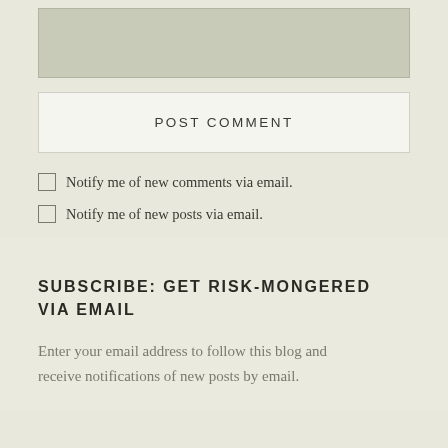[Figure (other): Text area input box with grayish-green background fill]
POST COMMENT
Notify me of new comments via email.
Notify me of new posts via email.
SUBSCRIBE: GET RISK-MONGERED VIA EMAIL
Enter your email address to follow this blog and receive notifications of new posts by email.